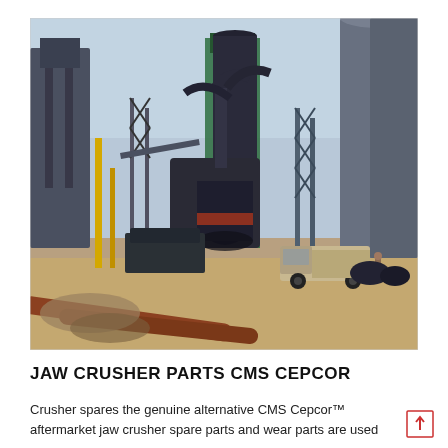[Figure (photo): Industrial facility with large silos, machinery, pipes, and a small truck in the foreground on a dirt lot. Multiple large cylindrical storage towers and processing equipment visible.]
JAW CRUSHER PARTS CMS CEPCOR
Crusher spares the genuine alternative CMS Cepcor™ aftermarket jaw crusher spare parts and wear parts are used